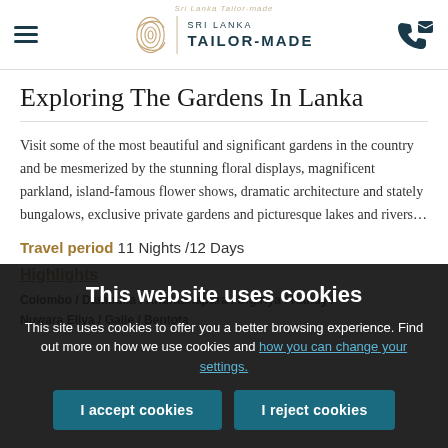Sri Lanka Tailor-made
Exploring The Gardens In Lanka
Visit some of the most beautiful and significant gardens in the country and be mesmerized by the stunning floral displays, magnificent parkland, island-famous flower shows, dramatic architecture and stately bungalows, exclusive private gardens and picturesque lakes and rivers…
Travel period 11 Nights /12 Days
Highlights
Colombo / Dambulla / Anuradhapura / Sigiriya / Kandy / Nuwara Eliya / Galle / Bentota
This website uses cookies
This site uses cookies to offer you a better browsing experience. Find out more on how we use cookies and how you can change your settings.
I accept cookies | I reject cookies